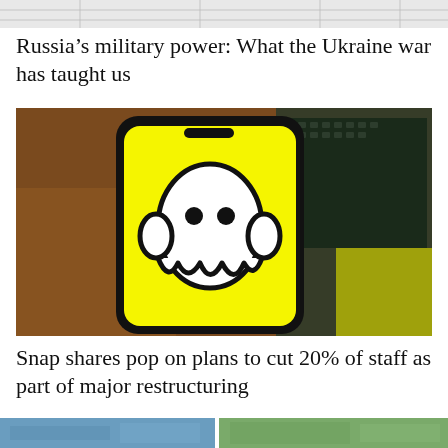[Figure (screenshot): Partial view of a news article page showing a table or grid layout at the top]
Russia’s military power: What the Ukraine war has taught us
[Figure (photo): A smartphone displaying the Snapchat ghost logo on a yellow background, placed on a surface near a laptop keyboard]
Snap shares pop on plans to cut 20% of staff as part of major restructuring
[Figure (photo): Bottom strip showing partial images of two more news articles]